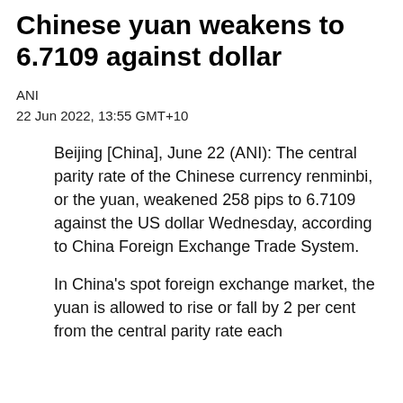Chinese yuan weakens to 6.7109 against dollar
ANI
22 Jun 2022, 13:55 GMT+10
Beijing [China], June 22 (ANI): The central parity rate of the Chinese currency renminbi, or the yuan, weakened 258 pips to 6.7109 against the US dollar Wednesday, according to China Foreign Exchange Trade System.
In China's spot foreign exchange market, the yuan is allowed to rise or fall by 2 per cent from the central parity rate each